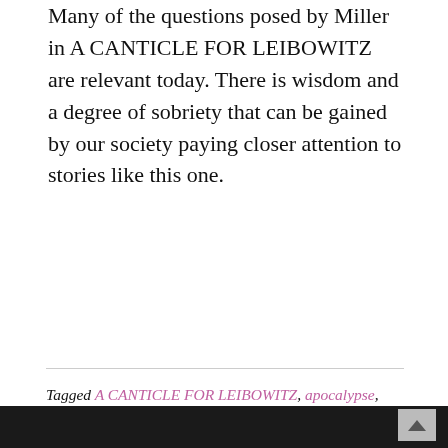Many of the questions posed by Miller in A CANTICLE FOR LEIBOWITZ are relevant today. There is wisdom and a degree of sobriety that can be gained by our society paying closer attention to stories like this one.
Tagged A CANTICLE FOR LEIBOWITZ, apocalypse, book review, books, dystopian fiction, fiction, literature, Nevil Shute, no spoilers, nuclear holocaust, nuclear war, nuclear warfare, On The Beach, sci fi, science, science fiction, science fiction classic, sciencefiction, scifi, susi pritchett jensen, technology, technology and ethics, Walter M. Miller Jr.
2 Comments